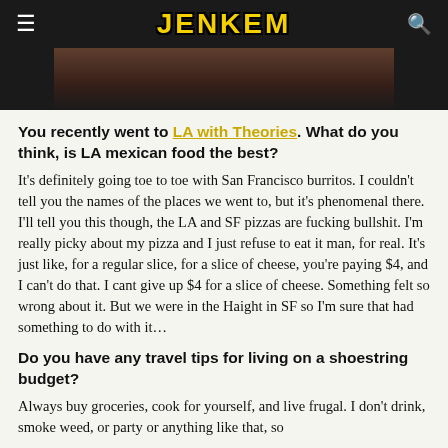JENKEM
[Figure (photo): Partial photo strip visible at top of page, dark brownish tones]
You recently went to LA with Theories. What do you think, is LA mexican food the best?
It's definitely going toe to toe with San Francisco burritos. I couldn't tell you the names of the places we went to, but it's phenomenal there. I'll tell you this though, the LA and SF pizzas are fucking bullshit. I'm really picky about my pizza and I just refuse to eat it man, for real. It's just like, for a regular slice, for a slice of cheese, you're paying $4, and I can't do that. I cant give up $4 for a slice of cheese. Something felt so wrong about it. But we were in the Haight in SF so I'm sure that had something to do with it…
Do you have any travel tips for living on a shoestring budget?
Always buy groceries, cook for yourself, and live frugal. I don't drink, smoke weed, or party or anything like that, so